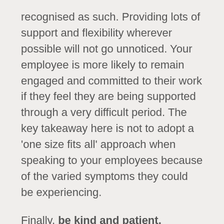recognised as such. Providing lots of support and flexibility wherever possible will not go unnoticed. Your employee is more likely to remain engaged and committed to their work if they feel they are being supported through a very difficult period. The key takeaway here is not to adopt a 'one size fits all' approach when speaking to your employees because of the varied symptoms they could be experiencing.
Finally, be kind and patient.
If you have any HR queries, whether related to COVID-19 or something